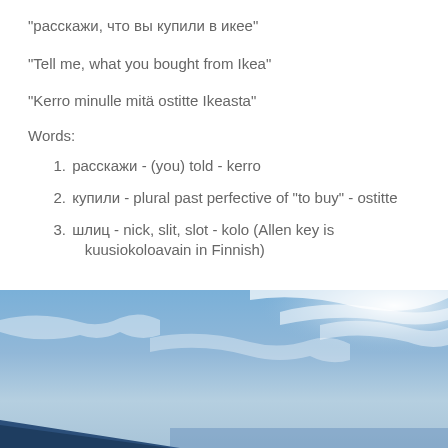“расскажи, что вы купили в икее”
“Tell me, what you bought from Ikea”
“Kerro minulle mitä ostitte Ikeasta”
Words:
1. расскажи - (you) told - kerro
2. купили - plural past perfective of “to buy” - ostitte
3. шлиц - nick, slit, slot - kolo (Allen key is kuusiokoloavain in Finnish)
[Figure (photo): Outdoor photo showing a blue sky with wispy clouds and what appears to be the top corner of a large blue building (likely an IKEA store) at the bottom of the frame.]